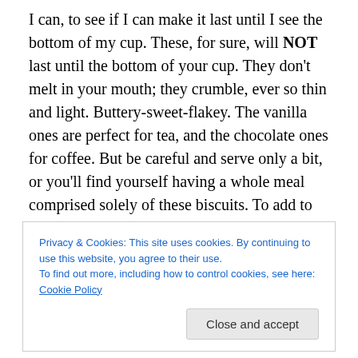I can, to see if I can make it last until I see the bottom of my cup. These, for sure, will NOT last until the bottom of your cup. They don't melt in your mouth; they crumble, ever so thin and light. Buttery-sweet-flakey. The vanilla ones are perfect for tea, and the chocolate ones for coffee. But be careful and serve only a bit, or you'll find yourself having a whole meal comprised solely of these biscuits. To add to their wonderfulness, they keep very well as long as they're placed in an airtight container, preferably with a sign on the tin that reads “don't grab anymore, you've already had 10!") .
Privacy & Cookies: This site uses cookies. By continuing to use this website, you agree to their use. To find out more, including how to control cookies, see here: Cookie Policy
Close and accept